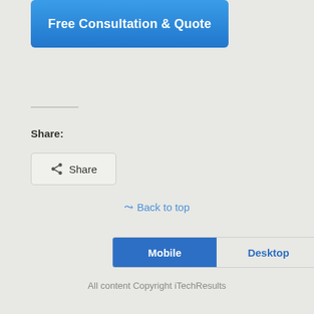[Figure (other): Blue button labeled 'Free Consultation & Quote']
Share:
[Figure (other): Share button with share icon and 'Share' label]
Back to top
[Figure (other): Mobile/Desktop toggle bar with Mobile (blue, active) and Desktop (outlined) tabs]
All content Copyright iTechResults